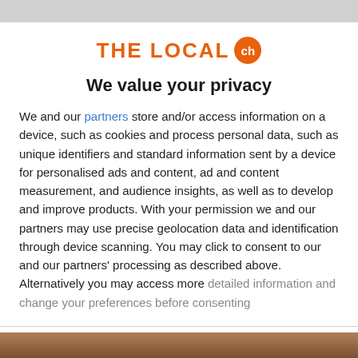[Figure (logo): The Local CH logo — orange bold text 'THE LOCAL' with an orange circle containing 'ch']
We value your privacy
We and our partners store and/or access information on a device, such as cookies and process personal data, such as unique identifiers and standard information sent by a device for personalised ads and content, ad and content measurement, and audience insights, as well as to develop and improve products. With your permission we and our partners may use precise geolocation data and identification through device scanning. You may click to consent to our and our partners' processing as described above. Alternatively you may access more detailed information and change your preferences before consenting
ACCEPT
MORE OPTIONS